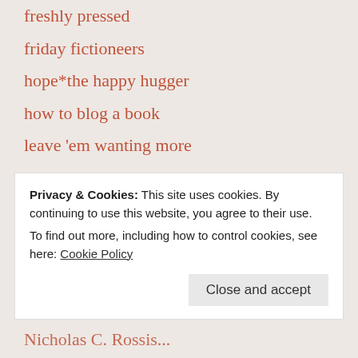freshly pressed
friday fictioneers
hope*the happy hugger
how to blog a book
leave 'em wanting more
linda vernon humor
living the seasons
makeitultrapsychology
marcia clarke-la chica writes
nicholas c. rossis
Privacy & Cookies: This site uses cookies. By continuing to use this website, you agree to their use.
To find out more, including how to control cookies, see here: Cookie Policy
Close and accept